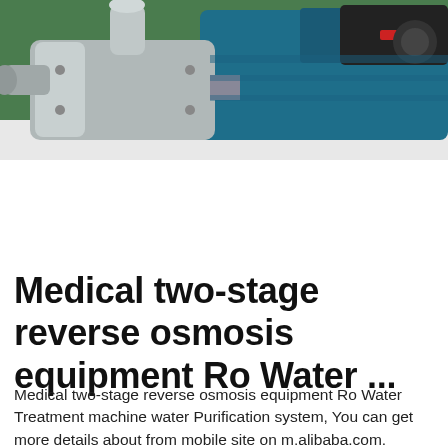[Figure (photo): Close-up photo of industrial water pump equipment: stainless steel pump head on left side and blue/black motor casing on right side, photographed against a green background.]
Medical two-stage reverse osmosis equipment Ro Water ...
Medical two-stage reverse osmosis equipment Ro Water Treatment machine water Purification system, You can get more details about from mobile site on m.alibaba.com. Sourcing Details Resource: ¥1,000.00 - ¥4,600.00